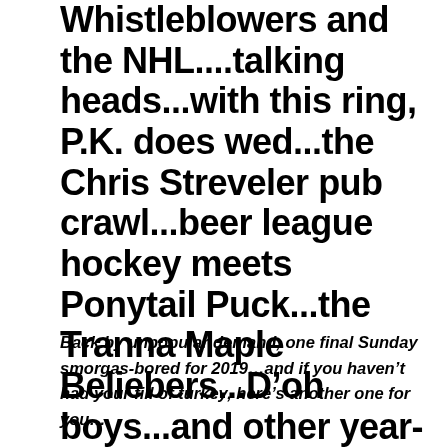Whistleblowers and the NHL....talking heads...with this ring, P.K. does wed...the Chris Streveler pub crawl...beer league hockey meets Ponytail Puck...the Tranna Maple Beliebers...D’oh boys...and other year-end award winners
Back by unpopular demand, one final Sunday smorgas-bored for 2019…and if you haven’t had your fill of turkey, here’s another one for you…